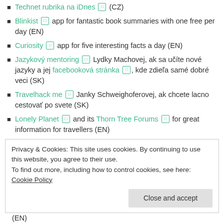Technet rubrika na iDnes (CZ)
Blinkist app for fantastic book summaries with one free per day (EN)
Curiosity app for five interesting facts a day (EN)
Jazykový mentoring Lydky Machovej, ak sa učíte nové jazyky a jej facebooková stránka, kde zdieľa samé dobré veci (SK)
Travelhack me Janky Schweighoferovej, ak chcete lacno cestovať po svete (SK)
Lonely Planet and its Thorn Tree Forums for great information for travellers (EN)
Privacy & Cookies: This site uses cookies. By continuing to use this website, you agree to their use. To find out more, including how to control cookies, see here: Cookie Policy
(EN)